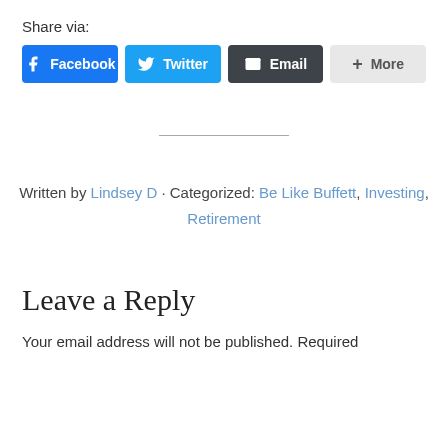Share via:
[Figure (infographic): Social share buttons: Facebook (blue), Twitter (light blue), Email (dark gray), More (light gray with + icon)]
Written by Lindsey D · Categorized: Be Like Buffett, Investing, Retirement
Leave a Reply
Your email address will not be published. Required